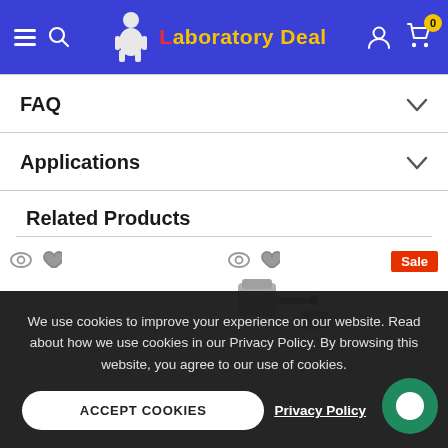Laboratory Deal
FAQ
Applications
Related Products
[Figure (photo): Product card with eye and heart icons, and a partial product image on the right with a Sale badge]
We use cookies to improve your experience on our website. Read about how we use cookies in our Privacy Policy. By browsing this website, you agree to our use of cookies.
ACCEPT COOKIES
Privacy Policy